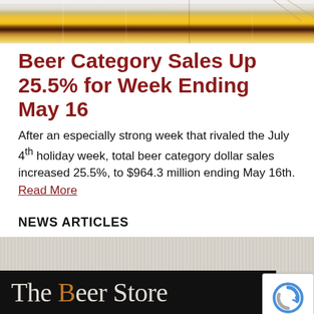[Figure (photo): Top portion of beer bottles in a row, showing golden, amber and dark colored beers against a light background]
Beer Category Sales Up 25.5% for Week Ending May 16
After an especially strong week that rivaled the July 4th holiday week, total beer category dollar sales increased 25.5%, to $964.3 million ending May 16th. Read More
NEWS ARTICLES
[Figure (photo): The Beer Store signage on a building exterior — white vertical slat facade with a black horizontal band bearing white and orange serif text reading 'The Beer Store']